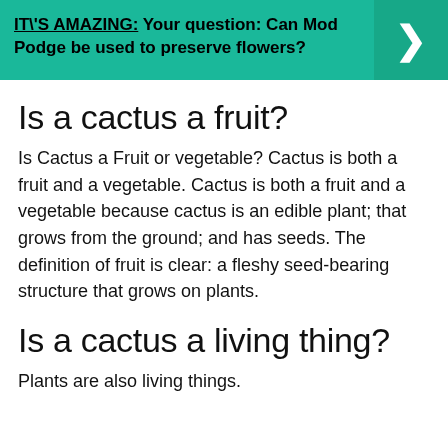[Figure (infographic): Teal banner with bold text reading IT\'S AMAZING: Your question: Can Mod Podge be used to preserve flowers? and a right-pointing arrow chevron on the right side]
Is a cactus a fruit?
Is Cactus a Fruit or vegetable? Cactus is both a fruit and a vegetable. Cactus is both a fruit and a vegetable because cactus is an edible plant; that grows from the ground; and has seeds. The definition of fruit is clear: a fleshy seed-bearing structure that grows on plants.
Is a cactus a living thing?
Plants are also living things.